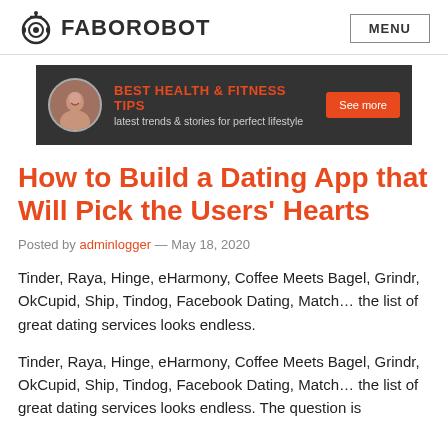FABOROBOT  MENU
[Figure (infographic): Dark banner advertisement: circular photo of a woman smiling, bold orange text 'BEST HEALTH & FITNESS TIPS', subtitle 'latest trends & stories for perfect lifestyle', orange 'See more' button on right.]
How to Build a Dating App that Will Pick the Users’ Hearts
Posted by adminlogger — May 18, 2020
Tinder, Raya, Hinge, eHarmony, Coffee Meets Bagel, Grindr, OkCupid, Ship, Tindog, Facebook Dating, Match… the list of great dating services looks endless.
Tinder, Raya, Hinge, eHarmony, Coffee Meets Bagel, Grindr, OkCupid, Ship, Tindog, Facebook Dating, Match… the list of great dating services looks endless. The question is